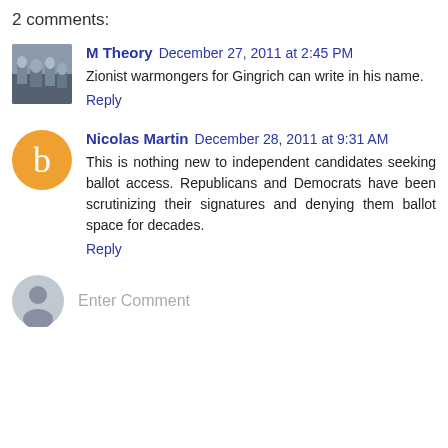2 comments:
M Theory  December 27, 2011 at 2:45 PM
Zionist warmongers for Gingrich can write in his name.
Reply
Nicolas Martin  December 28, 2011 at 9:31 AM
This is nothing new to independent candidates seeking ballot access. Republicans and Democrats have been scrutinizing their signatures and denying them ballot space for decades.
Reply
Enter Comment